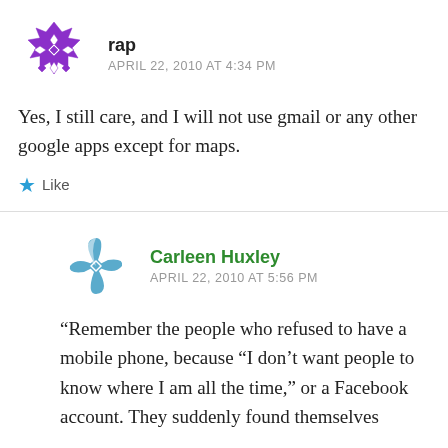[Figure (illustration): Purple geometric/snowflake avatar icon for user 'rap']
rap
APRIL 22, 2010 AT 4:34 PM
Yes, I still care, and I will not use gmail or any other google apps except for maps.
★ Like
[Figure (illustration): Blue geometric pinwheel avatar icon for user 'Carleen Huxley']
Carleen Huxley
APRIL 22, 2010 AT 5:56 PM
“Remember the people who refused to have a mobile phone, because “I don’t want people to know where I am all the time,” or a Facebook account. They suddenly found themselves